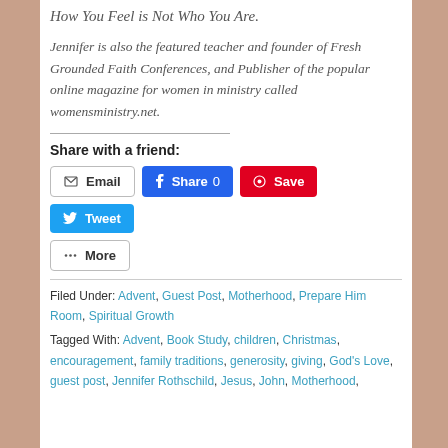How You Feel is Not Who You Are.
Jennifer is also the featured teacher and founder of Fresh Grounded Faith Conferences, and Publisher of the popular online magazine for women in ministry called womensministry.net.
Share with a friend:
Email | Share 0 | Save | Tweet | More
Filed Under: Advent, Guest Post, Motherhood, Prepare Him Room, Spiritual Growth
Tagged With: Advent, Book Study, children, Christmas, encouragement, family traditions, generosity, giving, God's Love, guest post, Jennifer Rothschild, Jesus, John, Motherhood,